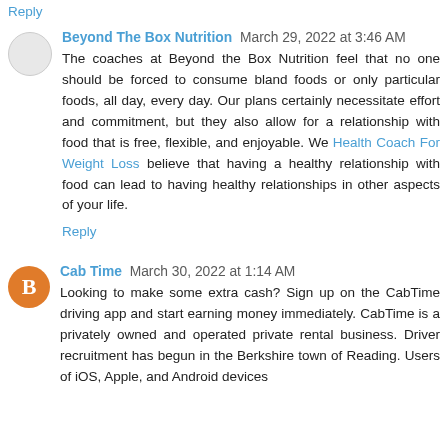Reply
Beyond The Box Nutrition  March 29, 2022 at 3:46 AM
The coaches at Beyond the Box Nutrition feel that no one should be forced to consume bland foods or only particular foods, all day, every day. Our plans certainly necessitate effort and commitment, but they also allow for a relationship with food that is free, flexible, and enjoyable. We Health Coach For Weight Loss believe that having a healthy relationship with food can lead to having healthy relationships in other aspects of your life.
Reply
Cab Time  March 30, 2022 at 1:14 AM
Looking to make some extra cash? Sign up on the CabTime driving app and start earning money immediately. CabTime is a privately owned and operated private rental business. Driver recruitment has begun in the Berkshire town of Reading. Users of iOS, Apple, and Android devices